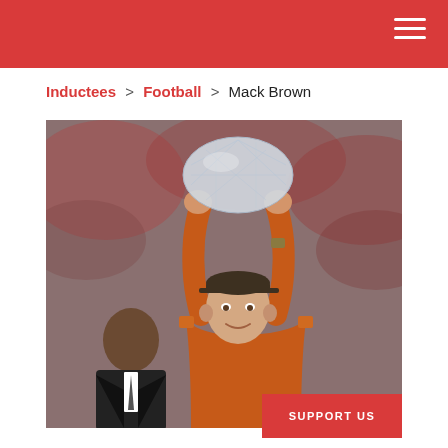Inductees > Football > Mack Brown
[Figure (photo): Mack Brown, head football coach wearing orange University of Texas attire, holding a crystal football championship trophy above his head with both arms raised. A man in a suit stands to his left. Background shows a blurred crowd in a stadium setting.]
SUPPORT US